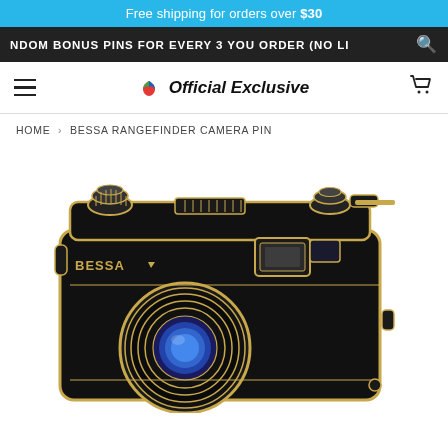Free shipping for orders over $30
NDOM BONUS PINS FOR EVERY 3 YOU ORDER (NO LI
Official Exclusive
HOME › BESSA RANGEFINDER CAMERA PIN
[Figure (photo): Close-up photo of a Bessa Rangefinder Camera enamel pin. The pin is black with gold detailing, showing a detailed camera body with lens, viewfinder, and branded BESSA text.]